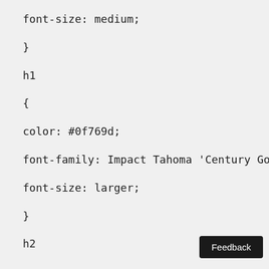font-size: medium;
}
h1
{
color: #0f769d;
font-family: Impact Tahoma 'Century Gothic
font-size: larger;
}
h2
Feedback